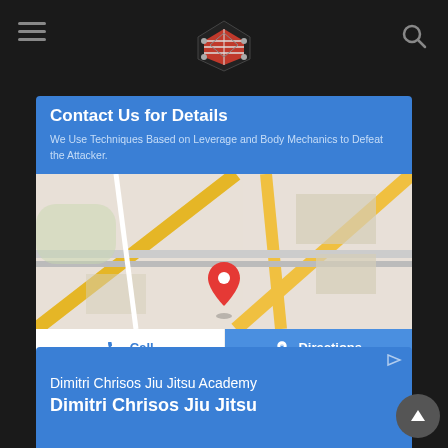Navigation header with hamburger menu, boxing ring logo, and search icon
Contact Us for Details
We Use Techniques Based on Leverage and Body Mechanics to Defeat the Attacker.
[Figure (map): Google Maps view showing location with red pin marker, roads in yellow/white on gray background]
Call | Directions
Dimitri Chrisos Jiu Jitsu Academy
Dimitri Chrisos Jiu Jitsu